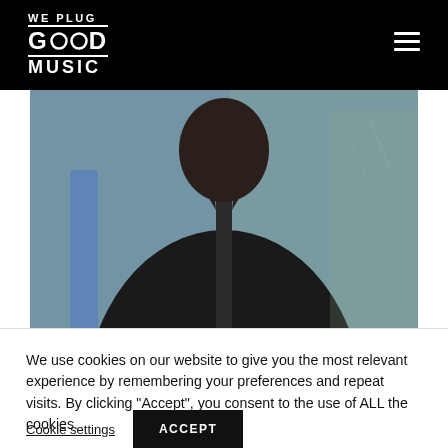WE PLUG GOOD MUSIC
[Figure (photo): A person in a black leather zip-up jacket against a muted teal/blue background, photo cropped at the torso and above]
We use cookies on our website to give you the most relevant experience by remembering your preferences and repeat visits. By clicking “Accept”, you consent to the use of ALL the cookies.
Cookie settings   ACCEPT